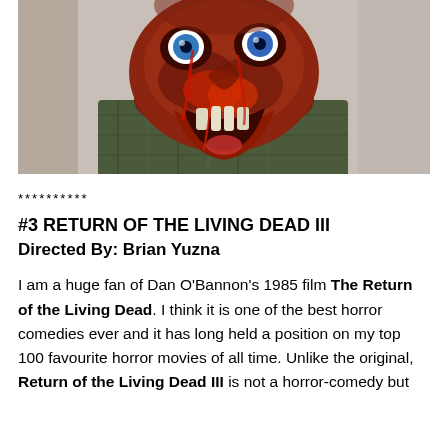[Figure (photo): Close-up horror photo of a grotesque zombie creature with bloody, exposed flesh, bulging eyes, and an open gaping mouth with visible teeth, wearing a plaid shirt.]
**********
#3 RETURN OF THE LIVING DEAD III
Directed By: Brian Yuzna
I am a huge fan of Dan O'Bannon's 1985 film The Return of the Living Dead. I think it is one of the best horror comedies ever and it has long held a position on my top 100 favourite horror movies of all time. Unlike the original, Return of the Living Dead III is not a horror-comedy but